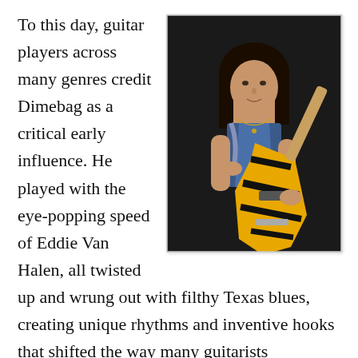To this day, guitar players across many genres credit Dimebag as a critical early influence. He played with the eye-popping speed of Eddie Van Halen, all twisted up and wrung out with filthy Texas blues, creating unique rhythms and inventive hooks that shifted the way many guitarists
[Figure (photo): Photo of Eddie Van Halen holding a distinctive black and yellow striped electric guitar, wearing a blue vest and necklace, with long dark hair, against a dark background.]